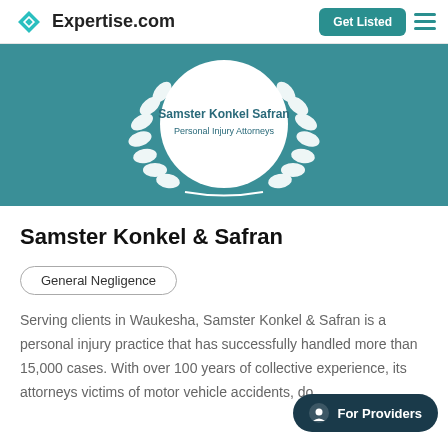Expertise.com  Get Listed
[Figure (illustration): Teal banner with a white laurel wreath medallion containing text 'Samster Konkel Safran Personal Injury Attorneys']
Samster Konkel & Safran
General Negligence
Serving clients in Waukesha, Samster Konkel & Safran is a personal injury practice that has successfully handled more than 15,000 cases. With over 100 years of collective experience, its attorneys victims of motor vehicle accidents, do